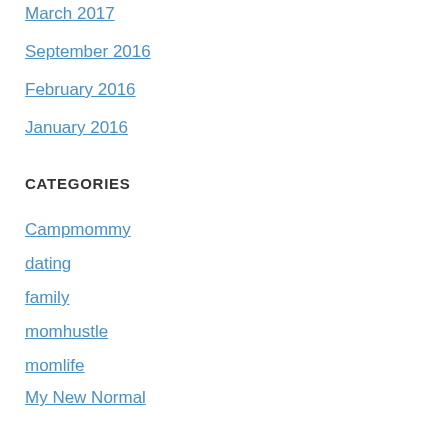March 2017
September 2016
February 2016
January 2016
CATEGORIES
Campmommy
dating
family
momhustle
momlife
My New Normal
single mom
Summer
surf
This is 40